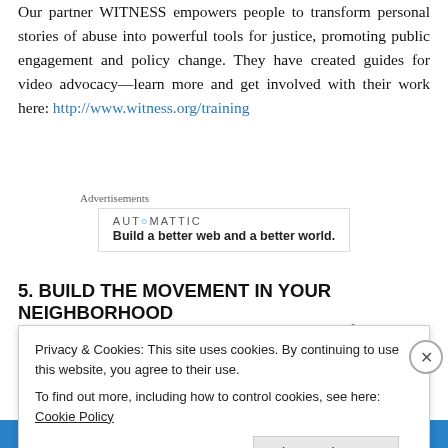Our partner WITNESS empowers people to transform personal stories of abuse into powerful tools for justice, promoting public engagement and policy change. They have created guides for video advocacy—learn more and get involved with their work here: http://www.witness.org/training
Advertisements
[Figure (logo): Automattic logo with tagline: Build a better web and a better world.]
5. BUILD THE MOVEMENT IN YOUR NEIGHBORHOOD
Dear Mandela is about a social movement in South Africa
Privacy & Cookies: This site uses cookies. By continuing to use this website, you agree to their use.
To find out more, including how to control cookies, see here: Cookie Policy
Close and accept